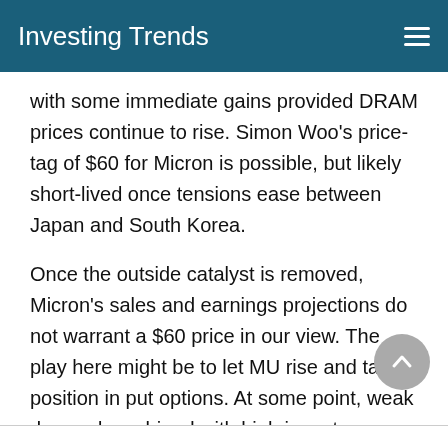Investing Trends
with some immediate gains provided DRAM prices continue to rise. Simon Woo’s price-tag of $60 for Micron is possible, but likely short-lived once tensions ease between Japan and South Korea.
Once the outside catalyst is removed, Micron’s sales and earnings projections do not warrant a $60 price in our view. The play here might be to let MU rise and take a position in put options. At some point, weak demand combined with high inventory levels will hit DRAM prices and Micron’s stock prices.